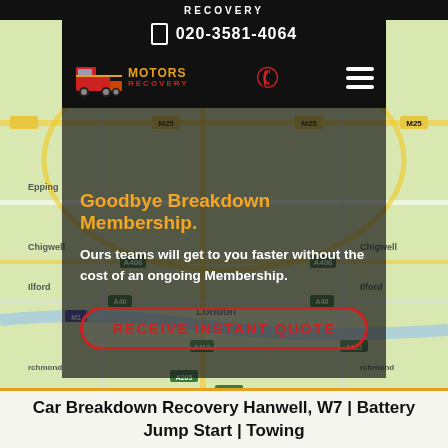RECOVERY
020-3581-4064
[Figure (screenshot): Motors Recovery website screenshot showing a map of London with navigation bar containing logo, phone icon, and hamburger menu. Overlay text reads 'Goodbye Breakdown Membership.' followed by 'Ours teams will get to you faster without the cost of an ongoing Membership.' and a red CTA button 'RECEIVE INSTANT QUOTE'.]
Car Breakdown Recovery Hanwell, W7 | Battery Jump Start | Towing